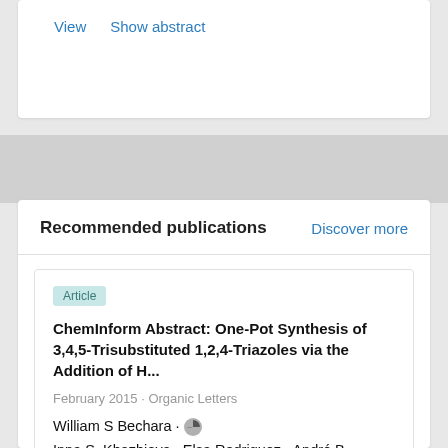View   Show abstract
Recommended publications
Discover more
Article
ChemInform Abstract: One-Pot Synthesis of 3,4,5-Trisubstituted 1,2,4-Triazoles via the Addition of H...
February 2015 · Organic Letters
William S Bechara · Inna S. Khazhieva · Elsa Rodriguez · André B. Charette
A general approach has been developed for the one-pot synthesis of